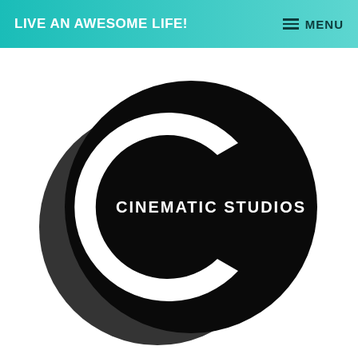LIVE AN AWESOME LIFE!
[Figure (logo): Cinematic Studios logo: a large black circle with a white C-shaped arc (pac-man style cutout), with text 'CINEMATIC STUDIOS' in white letters to the right inside the circle. A smaller darker ellipse overlaps the lower-left of the main circle.]